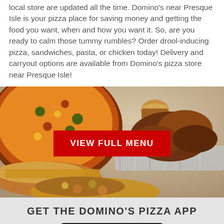local store are updated all the time. Domino's near Presque Isle is your pizza place for saving money and getting the food you want, when and how you want it. So, are you ready to calm those tummy rumbles? Order drool-inducing pizza, sandwiches, pasta, or chicken today! Delivery and carryout options are available from Domino's pizza store near Presque Isle!
[Figure (photo): Photo of Domino's food items including pizza, sandwiches, chicken wings, and other food, with a red 'VIEW FULL MENU' button overlaid in the center]
GET THE DOMINO'S PIZZA APP
[Figure (illustration): App Store download button with Apple logo and 'Download on the' text]